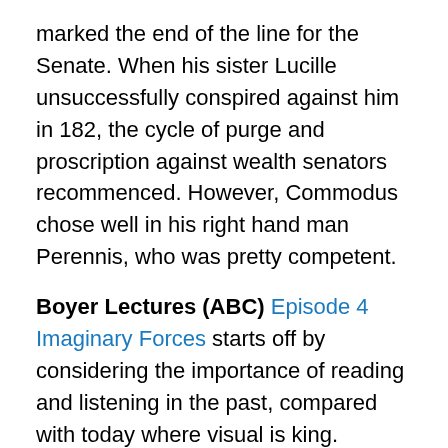marked the end of the line for the Senate. When his sister Lucille unsuccessfully conspired against him in 182, the cycle of purge and proscription against wealth senators recommenced. However, Commodus chose well in his right hand man Perennis, who was pretty competent.
Boyer Lectures (ABC) Episode 4 Imaginary Forces starts off by considering the importance of reading and listening in the past, compared with today where visual is king. Shakespeare's audiences generally came long prepared to listen rather than watch. His characters often announce where they are, and Shakespeare puts in their words vivid descriptions of what the audience is to imagine. He also conveys the emotional timbre of the play through light and dark (his comedies take place during the day where his tragedies take place at night) and through climate (Romeo and Juliet is set in hot Verona, Macbeth in cold Scotland...